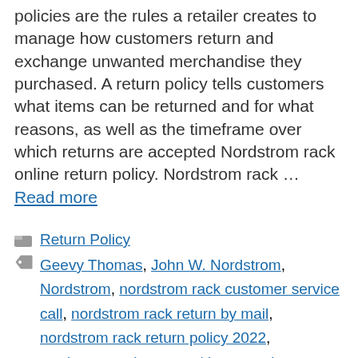policies are the rules a retailer creates to manage how customers return and exchange unwanted merchandise they purchased. A return policy tells customers what items can be returned and for what reasons, as well as the timeframe over which returns are accepted Nordstrom rack online return policy. Nordstrom rack … Read more
Return Policy
Geevy Thomas, John W. Nordstrom, Nordstrom, nordstrom rack customer service call, nordstrom rack return by mail, nordstrom rack return policy 2022, nordstrom rack return without receipt, nordstrom rack returns online order,